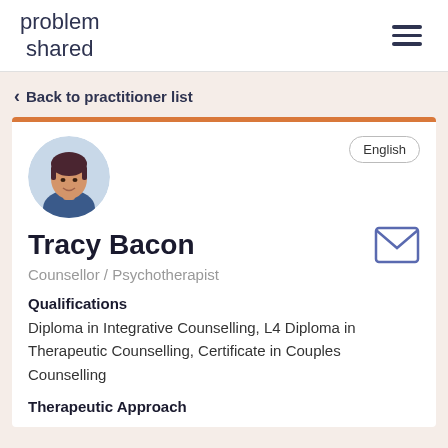problem shared
< Back to practitioner list
[Figure (photo): Circular profile photo of Tracy Bacon, a woman with short dark hair wearing a blue top]
English
Tracy Bacon
Counsellor / Psychotherapist
Qualifications
Diploma in Integrative Counselling, L4 Diploma in Therapeutic Counselling, Certificate in Couples Counselling
Therapeutic Approach